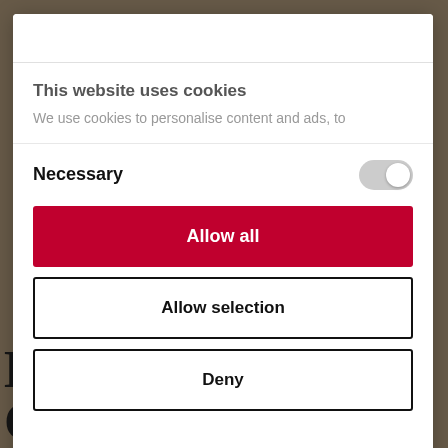[Figure (screenshot): Background webpage showing partial serif headline text partially obscured by cookie consent modal]
This website uses cookies
We use cookies to personalise content and ads, to
Necessary
Allow all
Allow selection
Deny
Powered by Cookiebot by Usercentrics
Know to Get Down Clewing